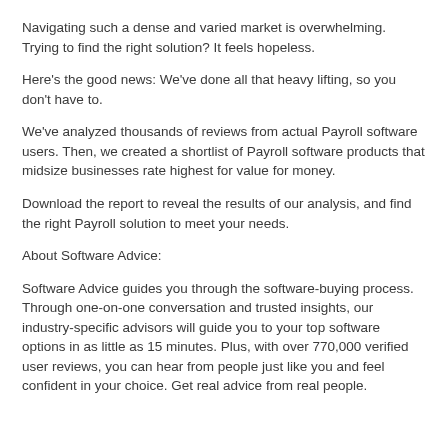Navigating such a dense and varied market is overwhelming. Trying to find the right solution? It feels hopeless.
Here's the good news: We've done all that heavy lifting, so you don't have to.
We've analyzed thousands of reviews from actual Payroll software users. Then, we created a shortlist of Payroll software products that midsize businesses rate highest for value for money.
Download the report to reveal the results of our analysis, and find the right Payroll solution to meet your needs.
About Software Advice:
Software Advice guides you through the software-buying process. Through one-on-one conversation and trusted insights, our industry-specific advisors will guide you to your top software options in as little as 15 minutes. Plus, with over 770,000 verified user reviews, you can hear from people just like you and feel confident in your choice. Get real advice from real people.